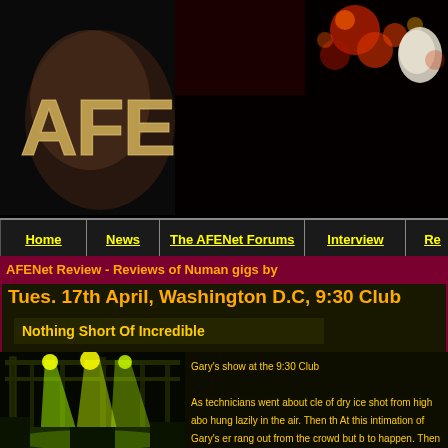[Figure (logo): AFE logo with stylized gold letters on dark background with artistic face illustration]
[Figure (photo): Dark red/black header banner with glowing red and gold abstract particles or flames on right side]
Home | News | The AFENet Forums | Interview | Re...
AFENet Review - Reviews of Numan gigs by
Tues. 17th April, Washington D.C, 9:30 Club
Nothing Short Of Incredible
[Figure (photo): Concert stage photo with bright green/yellow lighting illuminating industrial stage setup with scaffolding and trusses]
Gary's show at the 9:30 Club

As technicians went about cle of dry ice shot from high abo hung lazily in the air. Then th At this intimation of Gary's er rang out from the crowd but b to happen. Then a hellish crir as house lights gave way cor

A long interlude of anticipatio finally the unmistakable intro